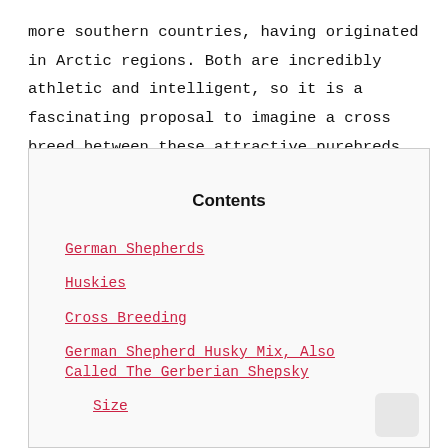more southern countries, having originated in Arctic regions. Both are incredibly athletic and intelligent, so it is a fascinating proposal to imagine a cross breed between these attractive purebreds.
Contents
German Shepherds
Huskies
Cross Breeding
German Shepherd Husky Mix, Also Called The Gerberian Shepsky
Size